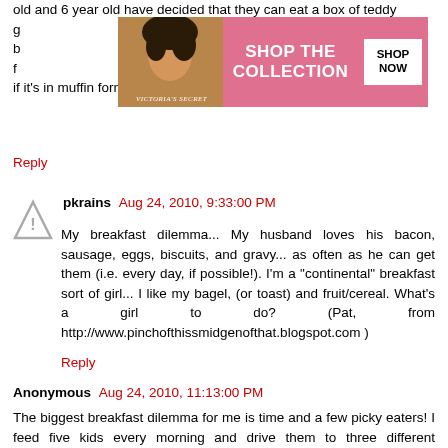old and 6 year old have decided that they can eat a box of teddy g... eat a real b... them out f... anything if it's in muffin form! thanks for the great ideas!
[Figure (photo): Victoria's Secret advertisement banner with model photo, pink background, 'SHOP THE COLLECTION' text and 'SHOP NOW' button]
Reply
pkrains  Aug 24, 2010, 9:33:00 PM
My breakfast dilemma... My husband loves his bacon, sausage, eggs, biscuits, and gravy... as often as he can get them (i.e. every day, if possible!). I'm a "continental" breakfast sort of girl... I like my bagel, (or toast) and fruit/cereal. What's a girl to do? (Pat, from http://www.pinchofthissmidgenofthat.blogspot.com )
Reply
Anonymous  Aug 24, 2010, 11:13:00 PM
The biggest breakfast dilemma for me is time and a few picky eaters! I feed five kids every morning and drive them to three different schools!!!